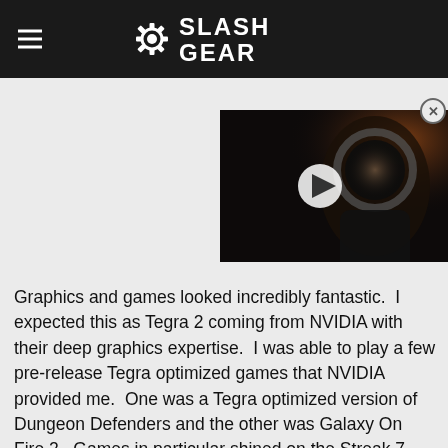SlashGear
[Figure (screenshot): Video thumbnail showing a person in sci-fi/space helmet gear with a play button overlay, on a dark background]
Graphics and games looked incredibly fantastic.  I expected this as Tegra 2 coming from NVIDIA with their deep graphics expertise.  I was able to play a few pre-release Tegra optimized games that NVIDIA provided me.  One was a Tegra optimized version of Dungeon Defenders and the other was Galaxy On Fire 2.  Games in particular shined on the Streak 7 and when it came to fluid and rich graphical gameplay it was much better than the Tab.